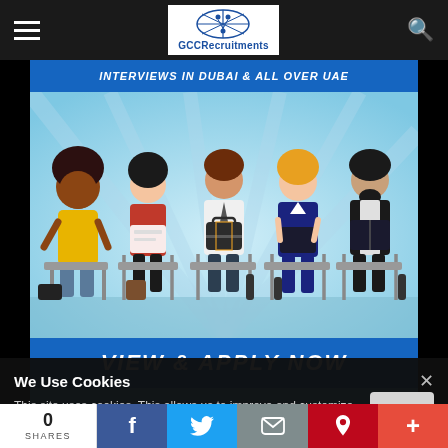GCCRecruitments
[Figure (illustration): Website screenshot showing GCCRecruitments job recruitment page with illustration of five diverse job candidates sitting and waiting, with text 'INTERVIEWS IN DUBAI & ALL OVER UAE' at top and 'VIEW & APPLY NOW' blue banner below the illustration.]
We Use Cookies
This site uses cookies. This allows us to improve and customize your browsing experience. To find out more about the cookies we use, see our Privacy Policy.
Privacy Policy
0
SHARES